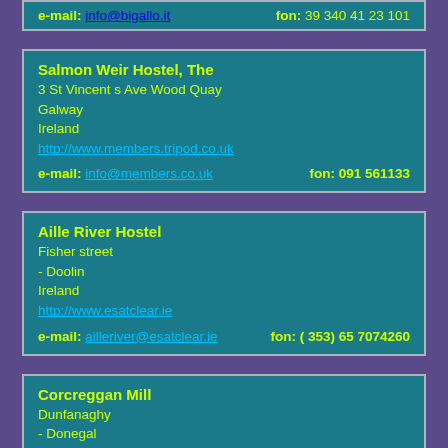e-mail: info@bigallo.it   fon: 39 340 41 23 101
Salmon Weir Hostel, The
3 St Vincent s Ave Wood Quay
Galway
Ireland
http://www.members.tripod.co.uk
e-mail: info@members.co.uk   fon: 091 561133
Aille River Hostel
Fisher street
- Doolin
Ireland
http://www.esatclear.ie
e-mail: ailleriver@esatclear.ie   fon: ( 353) 65 7074260
Corcreggan Mill
Dunfanaghy
- Donegal
Ireland